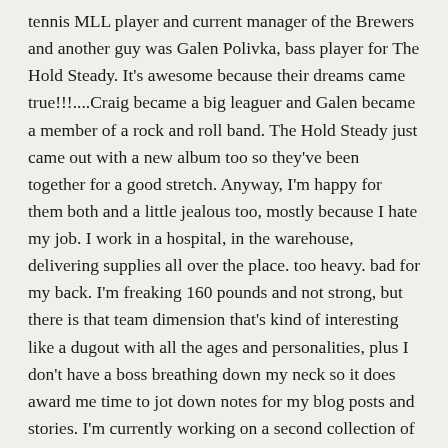tennis MLL player and current manager of the Brewers and another guy was Galen Polivka, bass player for The Hold Steady. It's awesome because their dreams came true!!!....Craig became a big leaguer and Galen became a member of a rock and roll band. The Hold Steady just came out with a new album too so they've been together for a good stretch. Anyway, I'm happy for them both and a little jealous too, mostly because I hate my job. I work in a hospital, in the warehouse, delivering supplies all over the place. too heavy. bad for my back. I'm freaking 160 pounds and not strong, but there is that team dimension that's kind of interesting like a dugout with all the ages and personalities, plus I don't have a boss breathing down my neck so it does award me time to jot down notes for my blog posts and stories. I'm currently working on a second collection of short stories which is supposed to be out in September or October 2021 but these dates always change which is cool because deadlines suck. I like the extra time and freedom to further develop characters, clarify themes, and whatever else to make a story more